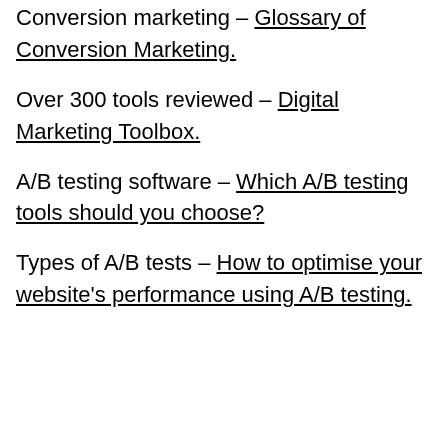Conversion marketing – Glossary of Conversion Marketing.
Over 300 tools reviewed – Digital Marketing Toolbox.
A/B testing software – Which A/B testing tools should you choose?
Types of A/B tests – How to optimise your website's performance using A/B testing.